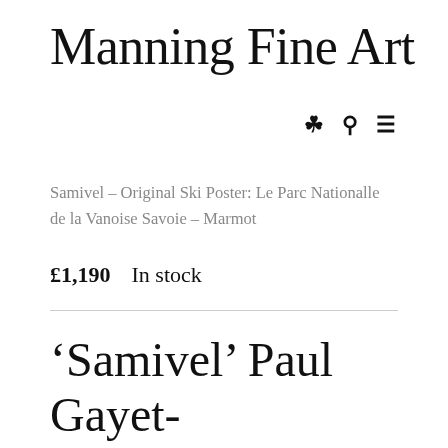Manning Fine Art
Samivel – Original Ski Poster: Le Parc Nationalle de la Vanoise Savoie – Marmot
£1,190  In stock
'Samivel' Paul Gayet-Tancrède (1907–1992)